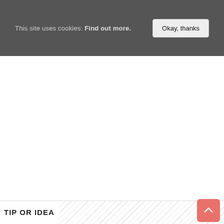This site uses cookies: Find out more.  [Okay, thanks]
TIP OR IDEA